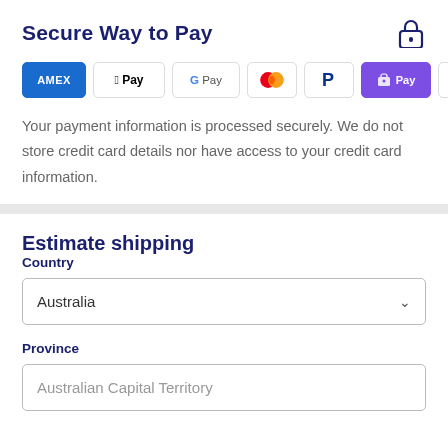Secure Way to Pay
[Figure (illustration): Payment method icons: AMEX, Apple Pay, Google Pay, Mastercard, PayPal, Shop Pay, Visa]
Your payment information is processed securely. We do not store credit card details nor have access to your credit card information.
Estimate shipping
Country
Australia
Province
Australian Capital Territory